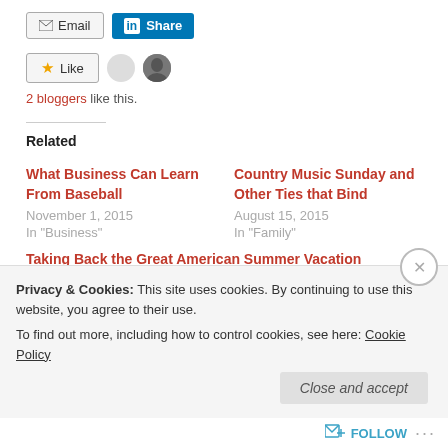[Figure (screenshot): Share buttons: Email button and LinkedIn Share button]
[Figure (screenshot): Like button with star icon, two avatar images, and '2 bloggers like this.' text]
Related
What Business Can Learn From Baseball
November 1, 2015
In "Business"
Country Music Sunday and Other Ties that Bind
August 15, 2015
In "Family"
Taking Back the Great American Summer Vacation
Privacy & Cookies: This site uses cookies. By continuing to use this website, you agree to their use.
To find out more, including how to control cookies, see here: Cookie Policy
Close and accept